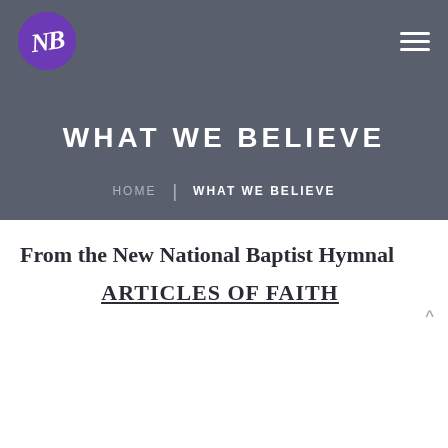[Figure (logo): Purple circle logo with stylized NB letters in white italic script]
WHAT WE BELIEVE
HOME | WHAT WE BELIEVE
From the New National Baptist Hymnal
ARTICLES OF FAITH